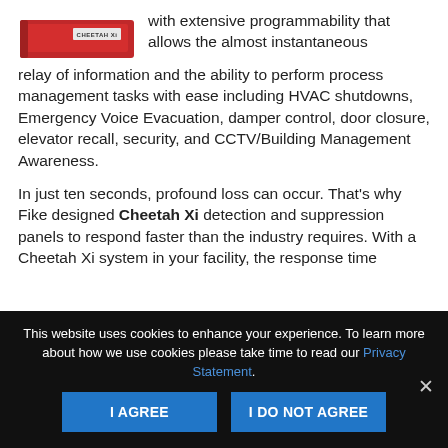[Figure (photo): Red Cheetah Xi fire panel product image with label CHEETAH Xi on front face]
with extensive programmability that allows the almost instantaneous relay of information and the ability to perform process management tasks with ease including HVAC shutdowns, Emergency Voice Evacuation, damper control, door closure, elevator recall, security, and CCTV/Building Management Awareness.
In just ten seconds, profound loss can occur. That's why Fike designed Cheetah Xi detection and suppression panels to respond faster than the industry requires. With a Cheetah Xi system in your facility, the response time
This website uses cookies to enhance your experience. To learn more about how we use cookies please take time to read our Privacy Statement.
I AGREE
I DO NOT AGREE